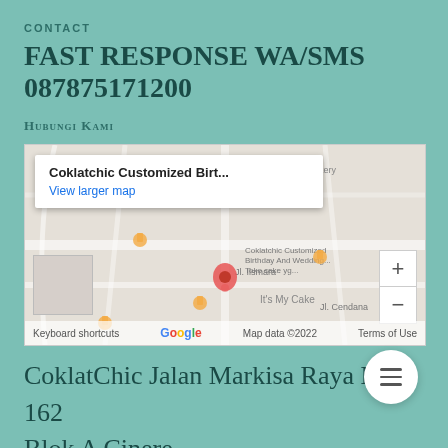CONTACT
FAST RESPONSE WA/SMS 087875171200
Hubungi Kami
[Figure (map): Google Maps embed showing location of Coklatchic Customized Birthday And Wedding, with a popup showing the business name and 'View larger map' link. Map shows streets around Jl. Ilsmara area with zoom controls and Google branding.]
CoklatChic Jalan Markisa Raya No. 162
Blok A Cinere
087875171200
08.00 - 22.00